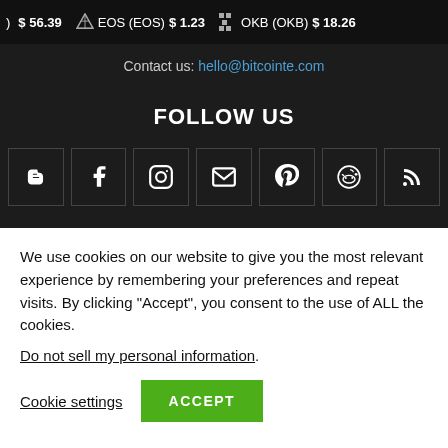) $56.39  EOS (EOS) $1.23  OKB (OKB) $18.26
Contact us: hello@bitcointe.com
FOLLOW US
[Figure (infographic): Row of 7 social media icon buttons: Blogger, Facebook, Instagram, Email, Pinterest, Reddit, RSS]
We use cookies on our website to give you the most relevant experience by remembering your preferences and repeat visits. By clicking “Accept”, you consent to the use of ALL the cookies.
Do not sell my personal information.
Cookie settings  ACCEPT